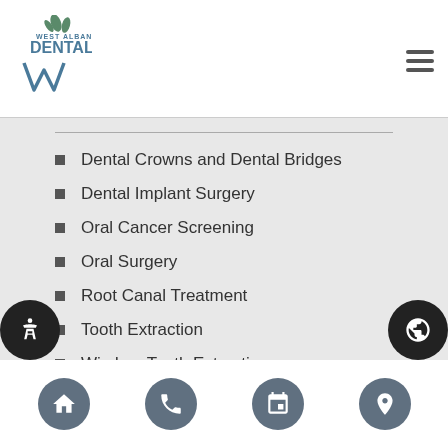West Albany Dental
Dental Crowns and Dental Bridges
Dental Implant Surgery
Oral Cancer Screening
Oral Surgery
Root Canal Treatment
Tooth Extraction
Wisdom Teeth Extraction
Find a Dentist in Albany, OR